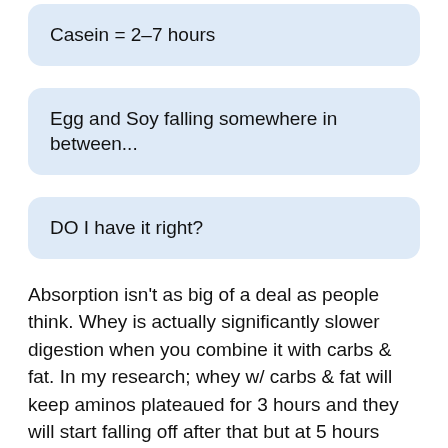Casein = 2-7 hours
Egg and Soy falling somewhere in between...
DO I have it right?
Absorption isn't as big of a deal as people think. Whey is actually significantly slower digestion when you combine it with carbs & fat. In my research; whey w/ carbs & fat will keep aminos plateaued for 3 hours and they will start falling off after that but at 5 hours post meal they are still elevated above baseline